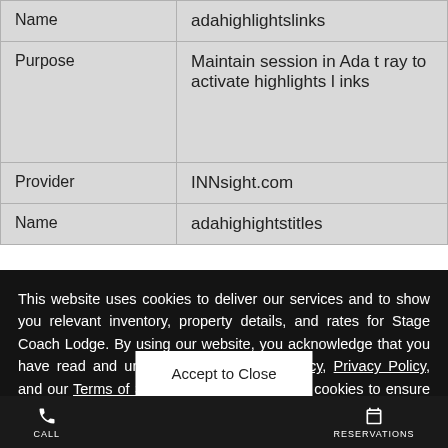|  |  |
| --- | --- |
| Name | adahighlightslinks |
| Purpose | Maintain session in Ada tray to activate highlights links |
| Provider | INNsight.com |
| Name | adahighightstitles |
This website uses cookies to deliver our services and to show you relevant inventory, property details, and rates for Stage Coach Lodge. By using our website, you acknowledge that you have read and understand our Cookie Policy, Privacy Policy, and our Terms of Service. This website uses cookies to ensure that you get the best online experience. Therefore, your use of Stage Coach Lodge's website is subject to the policies and terms of our Cookie Policy.